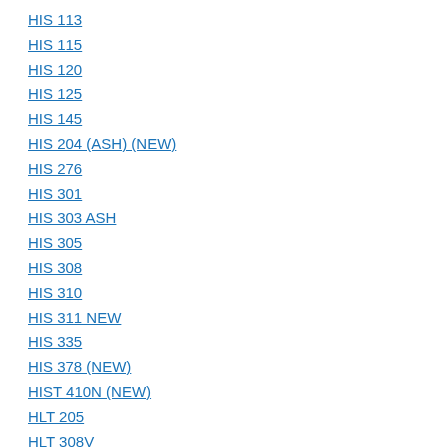HIS 113
HIS 115
HIS 120
HIS 125
HIS 145
HIS 204 (ASH) (NEW)
HIS 276
HIS 301
HIS 303 ASH
HIS 305
HIS 308
HIS 310
HIS 311 NEW
HIS 335
HIS 378 (NEW)
HIST 410N (NEW)
HLT 205
HLT 308V
HLT 310V